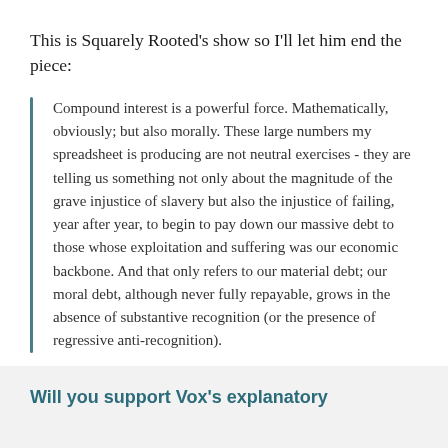This is Squarely Rooted's show so I'll let him end the piece:
Compound interest is a powerful force. Mathematically, obviously; but also morally. These large numbers my spreadsheet is producing are not neutral exercises - they are telling us something not only about the magnitude of the grave injustice of slavery but also the injustice of failing, year after year, to begin to pay down our massive debt to those whose exploitation and suffering was our economic backbone. And that only refers to our material debt; our moral debt, although never fully repayable, grows in the absence of substantive recognition (or the presence of regressive anti-recognition).
Will you support Vox's explanatory